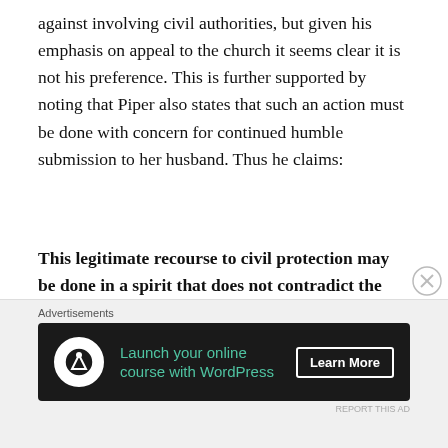against involving civil authorities, but given his emphasis on appeal to the church it seems clear it is not his preference. This is further supported by noting that Piper also states that such an action must be done with concern for continued humble submission to her husband. Thus he claims:
This legitimate recourse to civil protection may be done in a spirit that does not contradict the spirit of love and submission to her husband, for a wife may take this recourse with a heavy and humble heart that longs for her husband's repentance and the restoration of his nurturing leadership.
[Figure (infographic): Advertisement banner: 'Launch your online course with WordPress' with Learn More button on dark background with Teachable-style icon]
Advertisements